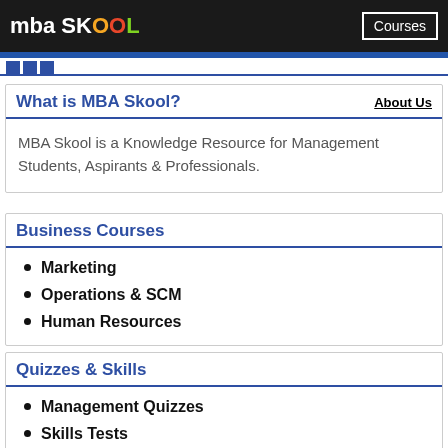mba SKOOL  Courses
What is MBA Skool?
MBA Skool is a Knowledge Resource for Management Students, Aspirants & Professionals.
Business Courses
Marketing
Operations & SCM
Human Resources
Quizzes & Skills
Management Quizzes
Skills Tests